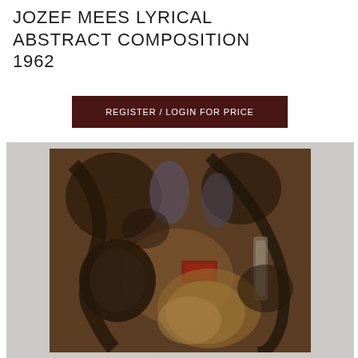JOZEF MEES LYRICAL ABSTRACT COMPOSITION 1962
REGISTER / LOGIN FOR PRICE
[Figure (photo): Photograph of a lyrical abstract painting by Jozef Mees, 1962. The painting shows an abstract composition with dark smoky tones of brown, black, and ochre, with hints of red and gray. The surface appears heavily textured with impasto technique.]